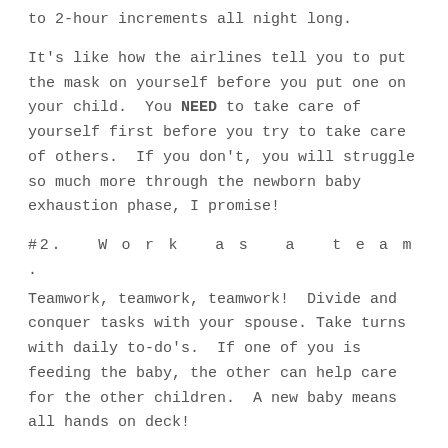to 2-hour increments all night long.
It's like how the airlines tell you to put the mask on yourself before you put one on your child.  You NEED to take care of yourself first before you try to take care of others.  If you don't, you will struggle so much more through the newborn baby exhaustion phase, I promise!
#2.  Work as a team.
Teamwork, teamwork, teamwork!  Divide and conquer tasks with your spouse. Take turns with daily to-do's.  If one of you is feeding the baby, the other can help care for the other children.  A new baby means all hands on deck!
Good communication is so important.  Newborn baby exhaustion is no reason to take out your frustrations on your spouse.  Kindness can go a long way, especially when it feels like you haven't slept in